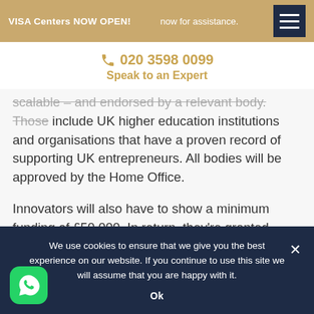VISA Centers NOW OPEN!    now for assistance.
020 3598 0099
Speak to an Expert
scalable – and endorsed by a relevant body. Those include UK higher education institutions and organisations that have a proven record of supporting UK entrepreneurs. All bodies will be approved by the Home Office.
Innovators will also have to show a minimum funding of £50,000. In return, they're granted leave for three years at a time and family members can
We use cookies to ensure that we give you the best experience on our website. If you continue to use this site we will assume that you are happy with it.
Ok